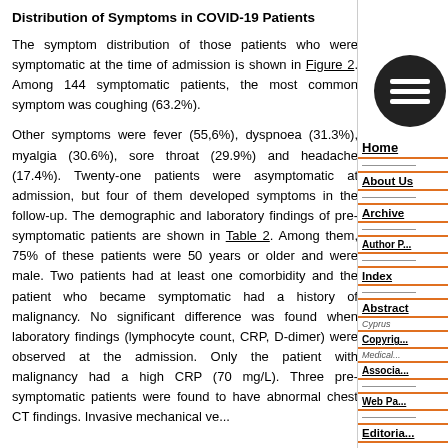Distribution of Symptoms in COVID-19 Patients
The symptom distribution of those patients who were symptomatic at the time of admission is shown in Figure 2. Among 144 symptomatic patients, the most common symptom was coughing (63.2%).
Other symptoms were fever (55,6%), dyspnoea (31.3%), myalgia (30.6%), sore throat (29.9%) and headache (17.4%). Twenty-one patients were asymptomatic at admission, but four of them developed symptoms in the follow-up. The demographic and laboratory findings of pre-symptomatic patients are shown in Table 2. Among them, 75% of these patients were 50 years or older and were male. Two patients had at least one comorbidity and the patient who became symptomatic had a history of malignancy. No significant difference was found when laboratory findings (lymphocyte count, CRP, D-dimer) were observed at the admission. Only the patient with malignancy had a high CRP (70 mg/L). Three pre-symptomatic patients were found to have abnormal chest CT findings. Invasive mechanical ve...